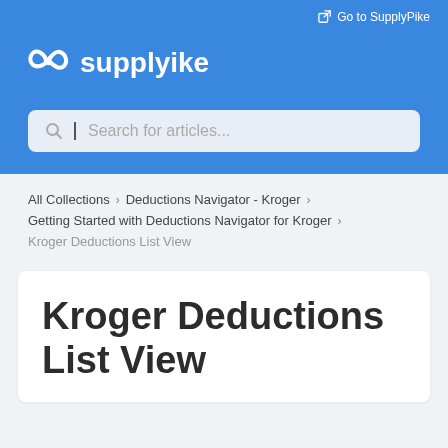Go to SupplyPike
[Figure (logo): SupplyPike logo: stylized infinity/link icon in white followed by 'supplyike' wordmark in white on blue background]
Search for articles...
All Collections > Deductions Navigator - Kroger >
Getting Started with Deductions Navigator for Kroger >
Kroger Deductions List View
Kroger Deductions List View